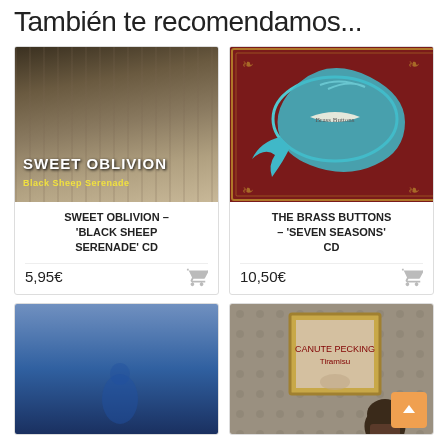También te recomendamos...
[Figure (photo): Album cover for Sweet Oblivion - Black Sheep Serenade CD]
SWEET OBLIVION – 'BLACK SHEEP SERENADE' CD
5,95€
[Figure (photo): Album cover for The Brass Buttons - Seven Seasons CD showing a teal whale on dark red ornate background]
THE BRASS BUTTONS – 'SEVEN SEASONS' CD
10,50€
[Figure (photo): Album cover showing blue gradient background]
[Figure (photo): Album cover showing person looking at framed picture on wall]